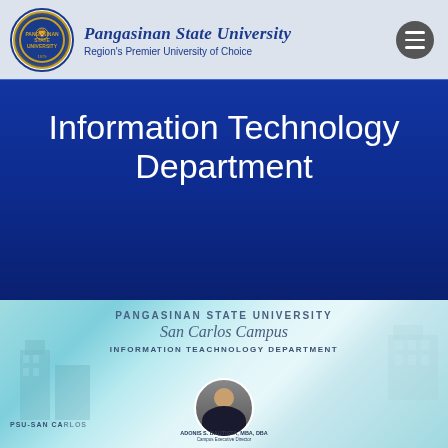Pangasinan State University — Region's Premier University of Choice
Information Technology Department
[Figure (photo): Promotional slide for Pangasinan State University San Carlos Campus Information Technology Department, showing a campus building background with profile photo of ADONIS S. BAUTISTA, MBA, DBA, Campus Executive Director]